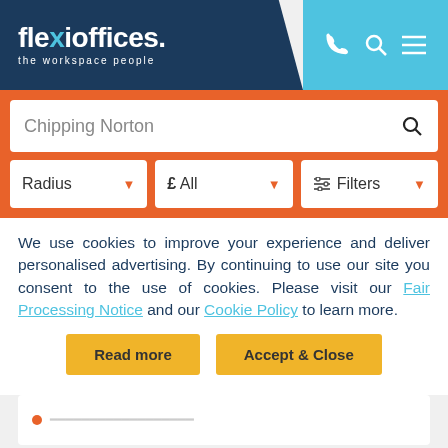[Figure (logo): Flexioffices logo with tagline 'the workspace people' on dark navy background with cyan top-right section containing phone, search, and menu icons]
Chipping Norton
Radius | £ All | Filters
We use cookies to improve your experience and deliver personalised advertising. By continuing to use our site you consent to the use of cookies. Please visit our Fair Processing Notice and our Cookie Policy to learn more.
Read more
Accept & Close
No. 1 Kings Meadow Osney Mea